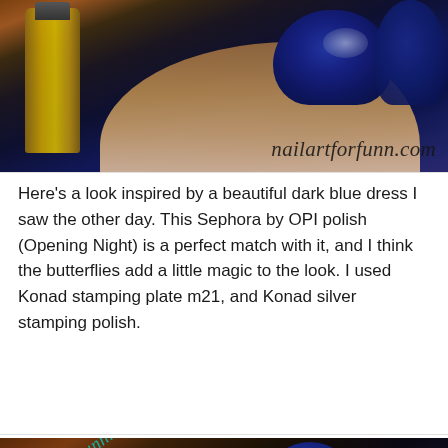[Figure (photo): Close-up photo of dark navy blue nails with silver butterfly stamping art, nail polish bottle visible on left, watermark 'nailartforfunn.com' in bottom right]
Here's a look inspired by a beautiful dark blue dress I saw the other day. This Sephora by OPI polish (Opening Night) is a perfect match with it, and I think the butterflies add a little magic to the look. I used Konad stamping plate m21, and Konad silver stamping polish.
[Figure (photo): Close-up photo of a hand with dark navy blue nails featuring silver butterfly stamping art using Konad plate m21, watermark 'nailartfortunn.com' in teal/cyan on left side at an angle]